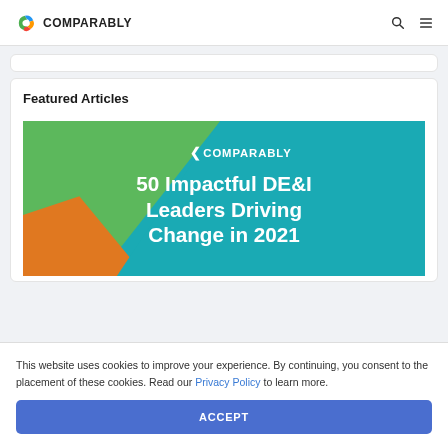COMPARABLY
Featured Articles
[Figure (illustration): Comparably branded image with teal, green, and orange diagonal shapes. Text reads: COMPARABLY logo, '50 Impactful DE&I Leaders Driving Change in 2021']
This website uses cookies to improve your experience. By continuing, you consent to the placement of these cookies. Read our Privacy Policy to learn more.
ACCEPT